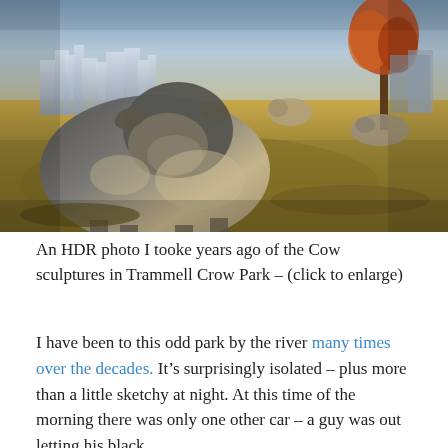[Figure (photo): HDR photo of cow sculptures in Trammell Crow Park, Dallas. Large stone/bronze cow sculpture in foreground on dry grass field, more cow sculptures in background. Dallas city skyline visible in background with autumn tree on right side.]
An HDR photo I tooke years ago of the Cow sculptures in Trammell Crow Park – (click to enlarge)
I have been to this odd park by the river many times over the decades. It's surprisingly isolated – plus more than a little sketchy at night. At this time of the morning there was only one other car – a guy was out letting his black